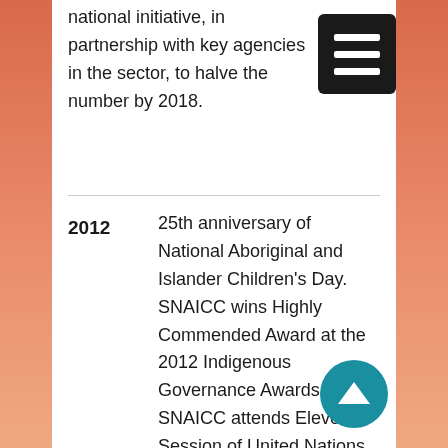national initiative, in partnership with key agencies in the sector, to halve the number by 2018.
2012 — 25th anniversary of National Aboriginal and Islander Children's Day.
SNAICC wins Highly Commended Award at the 2012 Indigenous Governance Awards.
SNAICC attends Eleventh Session of United Nations Permanent Forum Indigenous Issues in New York, and meeting of UN Committee for the